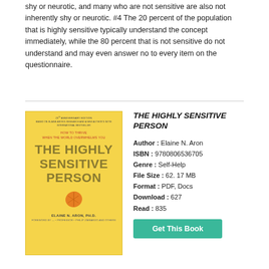shy or neurotic, and many who are not sensitive are also not inherently shy or neurotic. #4 The 20 percent of the population that is highly sensitive typically understand the concept immediately, while the 80 percent that is not sensitive do not understand and may even answer no to every item on the questionnaire.
[Figure (illustration): Book cover of 'The Highly Sensitive Person' by Elaine N. Aron, Ph.D. — 25th Anniversary Edition, yellow background with large title text and an orange leaf illustration.]
THE HIGHLY SENSITIVE PERSON
Author : Elaine N. Aron
ISBN : 9780806536705
Genre : Self-Help
File Size : 62. 17 MB
Format : PDF, Docs
Download : 627
Read : 835